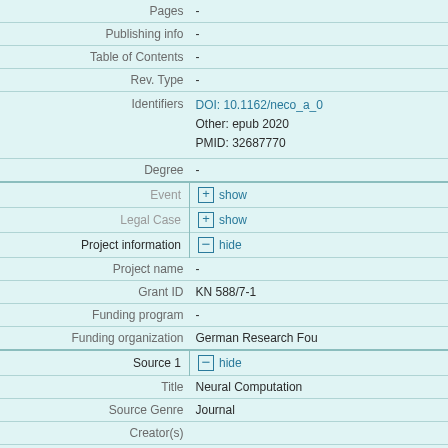| Field | Value |
| --- | --- |
| Pages | - |
| Publishing info | - |
| Table of Contents | - |
| Rev. Type | - |
| Identifiers | DOI: 10.1162/neco_a_0...
Other: epub 2020
PMID: 32687770 |
| Degree | - |
| Event | [+] show |
| Legal Case | [+] show |
| Project information | [-] hide |
| Project name | - |
| Grant ID | KN 588/7-1 |
| Funding program | - |
| Funding organization | German Research Fou... |
| Source 1 | [-] hide |
| Title | Neural Computation |
| Source Genre | Journal |
| Creator(s) |  |
| Affiliations |  |